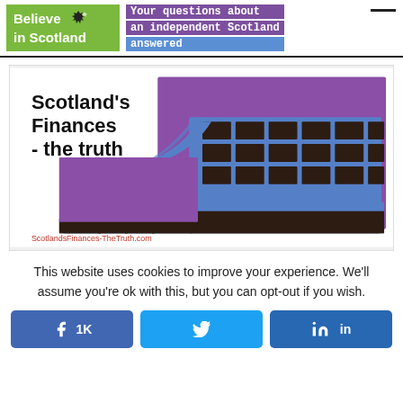Believe in Scotland — Your questions about an independent Scotland answered
[Figure (illustration): Scotland's Finances - the truth. Stylised illustration of the Scottish Parliament building in purple, blue, and dark brown. Text: ScotlandsFinances-TheTruth.com]
This website uses cookies to improve your experience. We'll assume you're ok with this, but you can opt-out if you wish.
1K  (Facebook share button)  (Twitter share button)  in (LinkedIn share button)